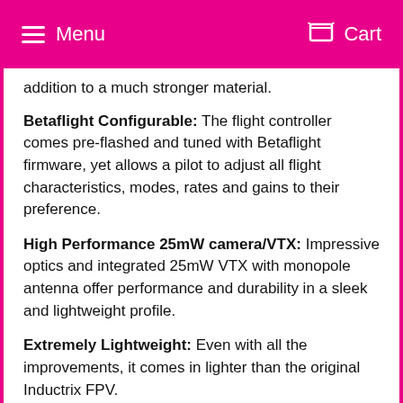Menu   Cart
addition to a much stronger material.
Betaflight Configurable: The flight controller comes pre-flashed and tuned with Betaflight firmware, yet allows a pilot to adjust all flight characteristics, modes, rates and gains to their preference.
High Performance 25mW camera/VTX: Impressive optics and integrated 25mW VTX with monopole antenna offer performance and durability in a sleek and lightweight profile.
Extremely Lightweight: Even with all the improvements, it comes in lighter than the original Inductrix FPV.
High Speed Motors: 19,000Kv + motors offer rapid